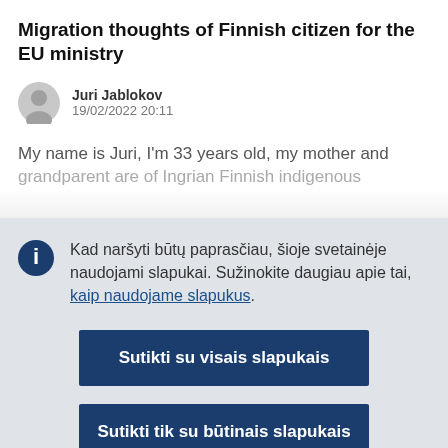Migration thoughts of Finnish citizen for the EU ministry
Juri Jablokov
19/02/2022 20:11
My name is Juri, I'm 33 years old, my mother and grandparent are of Ingrian Finnish indigenous…
Kad naršyti būtų paprasčiau, šioje svetainėje naudojami slapukai. Sužinokite daugiau apie tai, kaip naudojame slapukus.
Sutikti su visais slapukais
Sutikti tik su būtinais slapukais